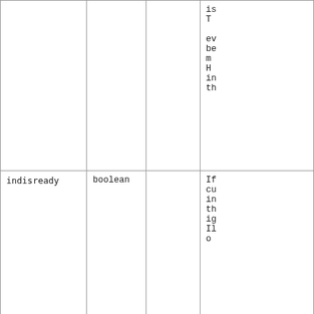| Parameter | Type |  | Description |
| --- | --- | --- | --- |
|  |  |  | is
T
ev
be
m
H
in
th |
| indisready | boolean |  | If
cu
in
th
ig
Il
o |
| indislive | boolean |  | If
in
dr
b |